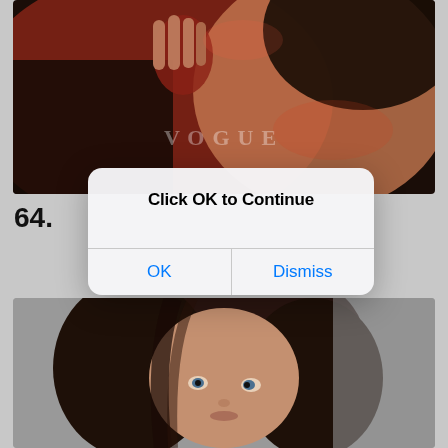[Figure (photo): A woman in a dark outfit with red lighting, holding something near her face, with a Vogue watermark visible]
64.
[Figure (screenshot): A modal dialog box with title 'Click OK to Continue' and two buttons: OK and Dismiss]
[Figure (photo): A woman with dark brown hair looking at the camera, gray background]